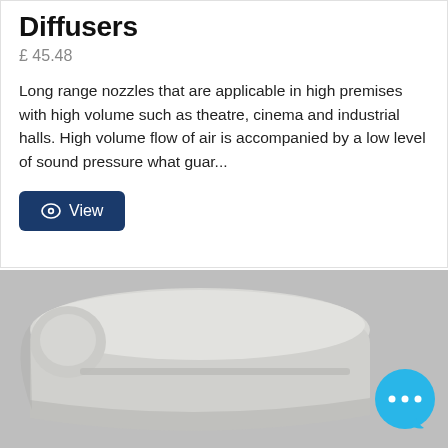Diffusers
£ 45.48
Long range nozzles that are applicable in high premises with high volume such as theatre, cinema and industrial halls. High volume flow of air is accompanied by a low level of sound pressure what guar...
[Figure (photo): Close-up photo of a white/grey air diffuser nozzle product against a grey background]
[Figure (other): Blue circular chat/support bubble icon in bottom right corner]